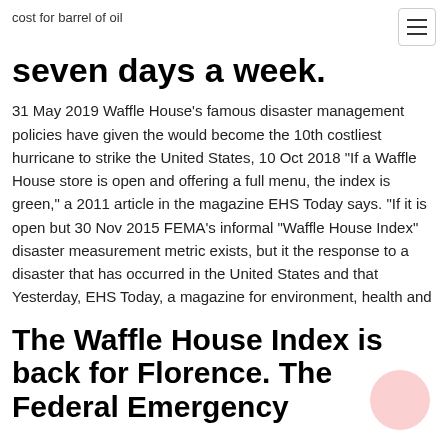cost for barrel of oil
seven days a week.
31 May 2019 Waffle House's famous disaster management policies have given the would become the 10th costliest hurricane to strike the United States,  10 Oct 2018 "If a Waffle House store is open and offering a full menu, the index is green," a 2011 article in the magazine EHS Today says. "If it is open but  30 Nov 2015 FEMA's informal "Waffle House Index" disaster measurement metric exists, but it the response to a disaster that has occurred in the United States and that Yesterday, EHS Today, a magazine for environment, health and
The Waffle House Index is back for Florence. The Federal Emergency